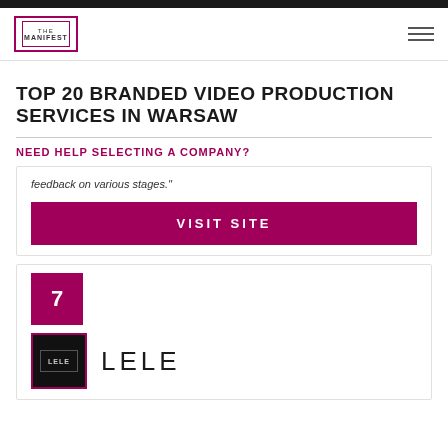THE MANIFEST
TOP 20 BRANDED VIDEO PRODUCTION SERVICES IN WARSAW
NEED HELP SELECTING A COMPANY?
feedback on various stages."
VISIT SITE
7
LELE